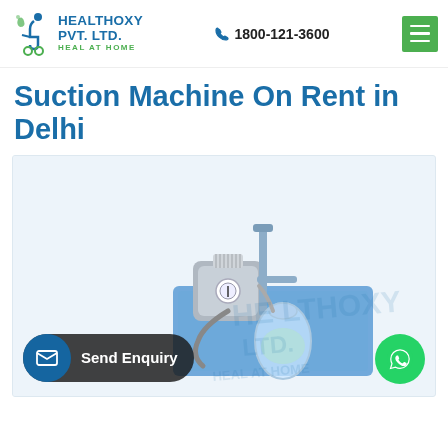[Figure (logo): Healthoxy Pvt. Ltd. logo with 'Heal at Home' tagline and phone number 1800-121-3600]
Suction Machine On Rent in Delhi
[Figure (photo): Medical suction machine on a blue base with tubing and collection jar, with Healthoxy Pvt. Ltd. watermark]
Send Enquiry